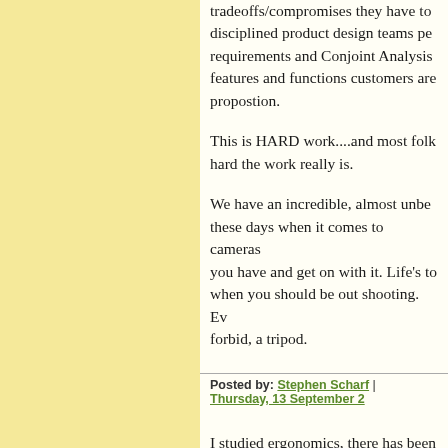tradeoffs/compromises they have to disciplined product design teams per requirements and Conjoint Analysis features and functions customers are propostion.
This is HARD work....and most folk hard the work really is.
We have an incredible, almost unbel these days when it comes to cameras you have and get on with it. Life's to when you should be out shooting. Ev forbid, a tripod.
Posted by: Stephen Scharf | Thursday, 13 September 2
I studied ergonomics, there has been any set-up, ergonomically good or b